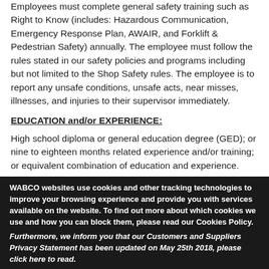Employees must complete general safety training such as Right to Know (includes: Hazardous Communication, Emergency Response Plan, AWAIR, and Forklift & Pedestrian Safety) annually. The employee must follow the rules stated in our safety policies and programs including but not limited to the Shop Safety rules. The employee is to report any unsafe conditions, unsafe acts, near misses, illnesses, and injuries to their supervisor immediately.
EDUCATION and/or EXPERIENCE:
High school diploma or general education degree (GED); or nine to eighteen months related experience and/or training; or equivalent combination of education and experience.
WABCO websites use cookies and other tracking technologies to improve your browsing experience and provide you with services available on the website. To find out more about which cookies we use and how you can block them, please read our Cookies Policy.
Furthermore, we inform you that our Customers and Suppliers Privacy Statement has been updated on May 25th 2018, please click here to read.
More Information